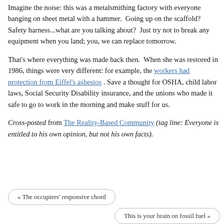Imagine the noise: this was a metalsmithing factory with everyone banging on sheet metal with a hammer.  Going up on the scaffold? Safety harness...what are you talking about?  Just try not to break any equipment when you land; you, we can replace tomorrow.
That's where everything was made back then.  When she was restored in 1986, things were very different: for example, the workers had protection from Eiffel's asbestos . Save a thought for OSHA, child labor laws, Social Security Disability insurance, and the unions who made it safe to go to work in the morning and make stuff for us.
Cross-posted from The Reality-Based Community (tag line: Everyone is entitled to his own opinion, but not his own facts).
« The occupiers' responsive chord
This is your brain on fossil fuel »